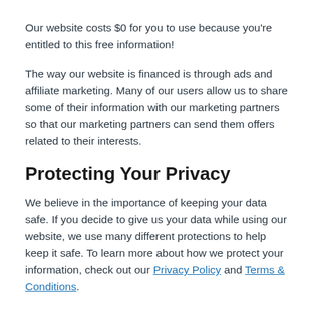Our website costs $0 for you to use because you're entitled to this free information!
The way our website is financed is through ads and affiliate marketing. Many of our users allow us to share some of their information with our marketing partners so that our marketing partners can send them offers related to their interests.
Protecting Your Privacy
We believe in the importance of keeping your data safe. If you decide to give us your data while using our website, we use many different protections to help keep it safe. To learn more about how we protect your information, check out our Privacy Policy and Terms & Conditions.